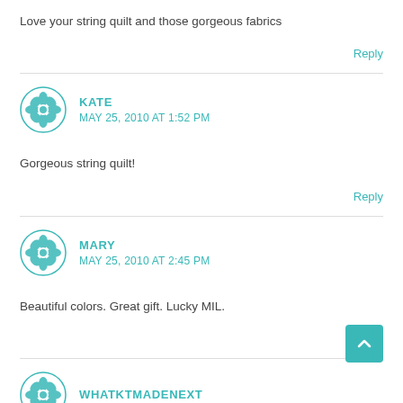Love your string quilt and those gorgeous fabrics
Reply
KATE
MAY 25, 2010 AT 1:52 PM
Gorgeous string quilt!
Reply
MARY
MAY 25, 2010 AT 2:45 PM
Beautiful colors. Great gift. Lucky MIL.
Reply
WHATKTMADENEXT